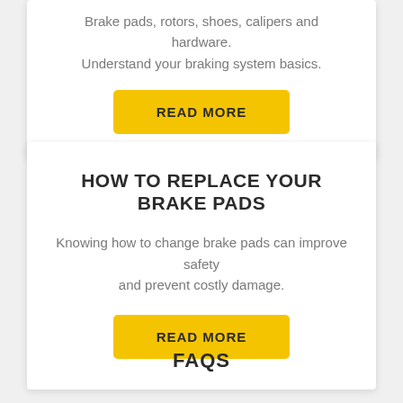Brake pads, rotors, shoes, calipers and hardware. Understand your braking system basics.
[Figure (other): Yellow READ MORE button]
HOW TO REPLACE YOUR BRAKE PADS
Knowing how to change brake pads can improve safety and prevent costly damage.
[Figure (other): Yellow READ MORE button]
FAQS